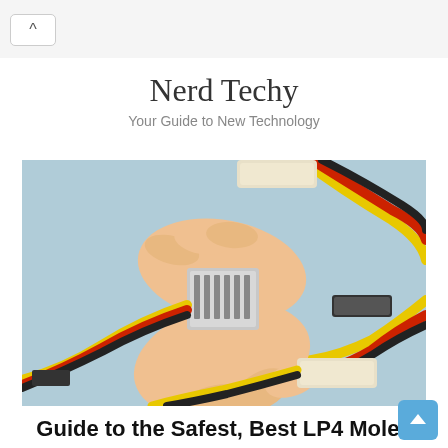^
Nerd Techy
Your Guide to New Technology
[Figure (photo): Hands holding a Molex to SATA power adapter connector with yellow, red, and black cables visible against a light blue background]
Guide to the Safest, Best LP4 Molex